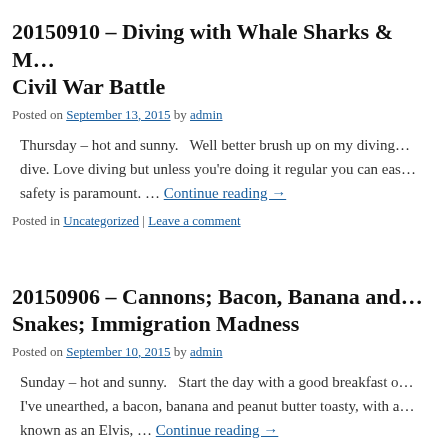20150910 – Diving with Whale Sharks & M… Civil War Battle
Posted on September 13, 2015 by admin
Thursday – hot and sunny.   Well better brush up on my diving… dive. Love diving but unless you're doing it regular you can eas… safety is paramount. … Continue reading →
Posted in Uncategorized | Leave a comment
20150906 – Cannons; Bacon, Banana and… Snakes; Immigration Madness
Posted on September 10, 2015 by admin
Sunday – hot and sunny.   Start the day with a good breakfast o… I've unearthed, a bacon, banana and peanut butter toasty, with a… known as an Elvis, … Continue reading →
Posted in Uncategorized | Leave a comment